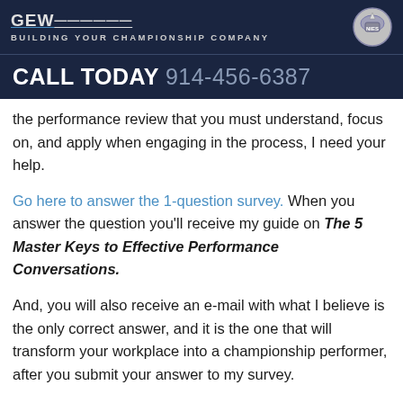BUILDING YOUR CHAMPIONSHIP COMPANY
CALL TODAY 914-456-6387
the performance review that you must understand, focus on, and apply when engaging in the process, I need your help.
Go here to answer the 1-question survey. When you answer the question you'll receive my guide on The 5 Master Keys to Effective Performance Conversations.
And, you will also receive an e-mail with what I believe is the only correct answer, and it is the one that will transform your workplace into a championship performer, after you submit your answer to my survey.